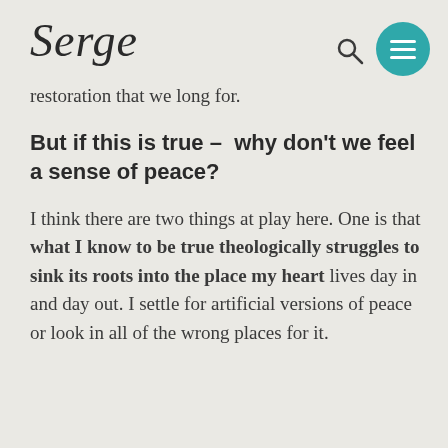Serge
restoration that we long for.
But if this is true –  why don't we feel a sense of peace?
I think there are two things at play here. One is that what I know to be true theologically struggles to sink its roots into the place my heart lives day in and day out. I settle for artificial versions of peace or look in all of the wrong places for it.